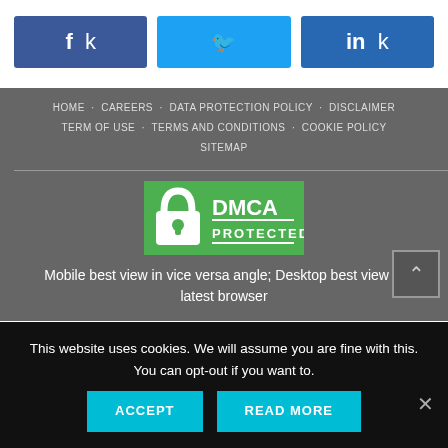[Figure (infographic): Social share buttons: Facebook (blue), Twitter (light blue), LinkedIn (dark blue)]
HOME · CAREERS · DATA PROTECTION POLICY · DISCLAIMER · TERM OF USE · TERMS AND CONDITIONS · COOKIE POLICY · SITEMAP
[Figure (logo): DMCA Protected badge — green background with padlock icon and 'DMCA PROTECTED' text]
Mobile best view in vice versa angle; Desktop best view in latest browser
This website uses cookies. We will assume you are fine with this. You can opt-out if you want to.
ACCEPT    READ MORE